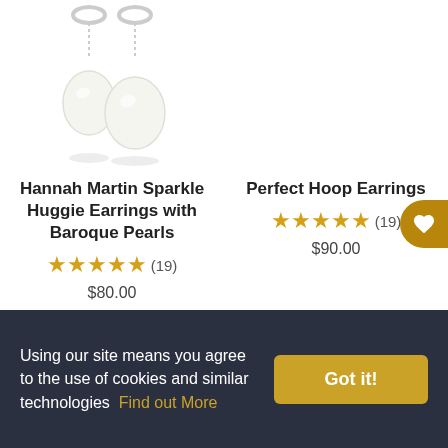[Figure (photo): Pearl drop earrings with huggie hoop tops, shown on white background]
Hannah Martin Sparkle Huggie Earrings with Baroque Pearls
★★★★★ (19)
$80.00
Perfect Hoop Earrings
★★★★★ (19)
$90.00
Using our site means you agree to the use of cookies and similar technologies  Find out More
Got it!